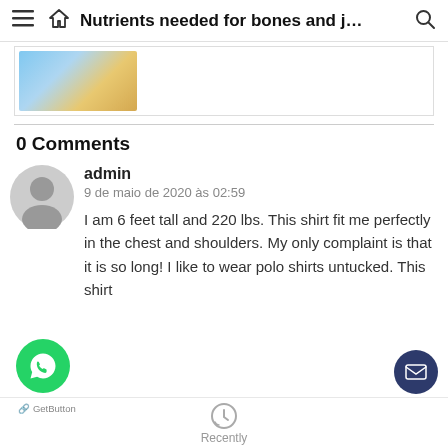Nutrients needed for bones and j…
[Figure (photo): Partial view of a person with blue element, cropped at top of page]
0 Comments
[Figure (illustration): Grey circular avatar icon for user profile]
admin
9 de maio de 2020 às 02:59

I am 6 feet tall and 220 lbs. This shirt fit me perfectly in the chest and shoulders. My only complaint is that it is so long! I like to wear polo shirts untucked. This shirt
[Figure (logo): Green WhatsApp floating button with clock/recently icon at bottom center and dark blue mail button at bottom right]